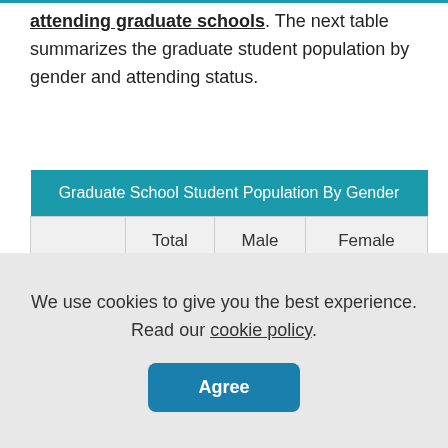attending graduate schools. The next table summarizes the graduate student population by gender and attending status.
|  | Total | Male | Female |
| --- | --- | --- | --- |
| Total | 247 | 102 | 145 |
We use cookies to give you the best experience. Read our cookie policy.